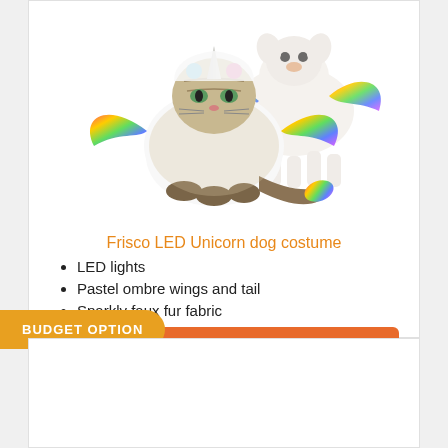[Figure (photo): A cat wearing a white unicorn costume with rainbow wings and horn, and a small white fluffy dog wearing a similar unicorn costume behind it, on a white background]
Frisco LED Unicorn dog costume
LED lights
Pastel ombre wings and tail
Sparkly faux fur fabric
CHECK PRICE →
BUDGET OPTION
[Figure (photo): Partial view of a pet wearing a prisoner costume with a hat labeled PRISONER]